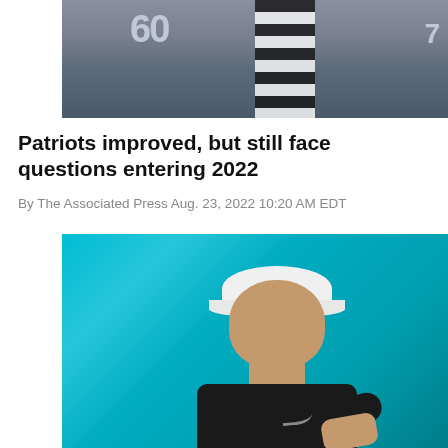[Figure (photo): Top photo showing NFL players in dark navy jerseys (numbers 60 and 7 visible) with a referee in black and white stripes on a football field]
Patriots improved, but still face questions entering 2022
By The Associated Press Aug. 23, 2022 10:20 AM EDT
[Figure (photo): Photo of a football coach wearing a white visor and black long-sleeve shirt with Nike logo, clapping hands together on a teal/turquoise field background (Miami Dolphins stadium)]